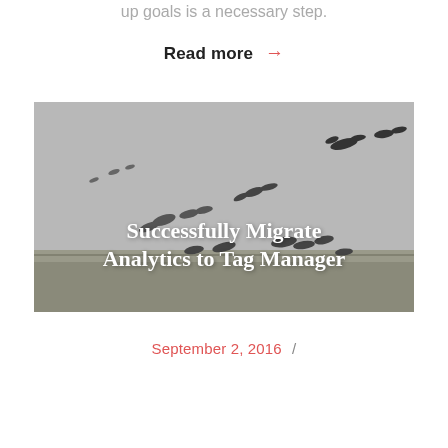up goals is a necessary step.
Read more →
[Figure (photo): Black and white photo of birds (cranes) in flight over a field, with text overlay 'Successfully Migrate Analytics to Tag Manager']
Successfully Migrate Analytics to Tag Manager
September 2, 2016  /